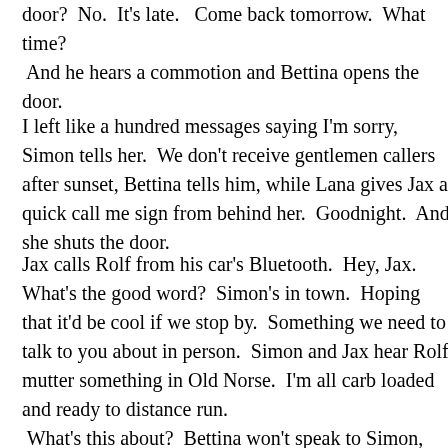door?  No.  It's late.   Come back tomorrow.  What time?  And he hears a commotion and Bettina opens the door.
I left like a hundred messages saying I'm sorry, Simon tells her.  We don't receive gentlemen callers after sunset, Bettina tells him, while Lana gives Jax a quick call me sign from behind her.  Goodnight.  And she shuts the door.
Jax calls Rolf from his car's Bluetooth.  Hey, Jax.  What's the good word?  Simon's in town.  Hoping that it'd be cool if we stop by.  Something we need to talk to you about in person.  Simon and Jax hear Rolf mutter something in Old Norse.  I'm all carb loaded and ready to distance run.  What's this about?  Bettina won't speak to Simon, and Lana just met us at the door with a shotgun.  Your girlfriend; you deal with it.  Click, Rolf hangs up.  He doesn't want me over, Simon says.  Rolf doesn't want anybody over.  Lana is the only one he trusts.  Who else is living there.  I…